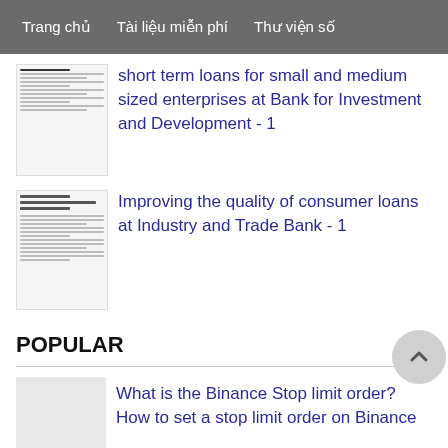Trang chủ   Tài liệu miễn phí   Thư viện số
short term loans for small and medium sized enterprises at Bank for Investment and Development - 1
Improving the quality of consumer loans at Industry and Trade Bank - 1
POPULAR
What is the Binance Stop limit order? How to set a stop limit order on Binance
Developing tourism products in Da Nang city